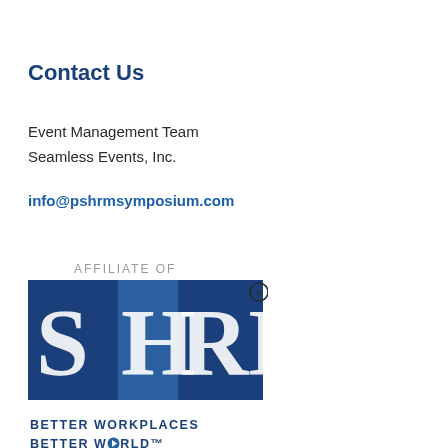Contact Us
Event Management Team
Seamless Events, Inc.
info@pshrmsymposium.com
[Figure (logo): SHRM logo with 'AFFILIATE OF' text above and 'BETTER WORKPLACES BETTER WORLD' tagline below]